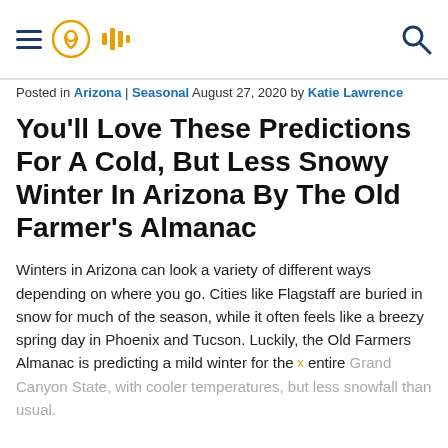Navigation header with hamburger menu, location pin icon, audio icon, and search icon
Posted in Arizona | Seasonal August 27, 2020 by Katie Lawrence
You'll Love These Predictions For A Cold, But Less Snowy Winter In Arizona By The Old Farmer's Almanac
Winters in Arizona can look a variety of different ways depending on where you go. Cities like Flagstaff are buried in snow for much of the season, while it often feels like a breezy spring day in Phoenix and Tucson. Luckily, the Old Farmers Almanac is predicting a mild winter for the entire Grand Canyon State, with cooler temperatures, but less snowfall than usual.